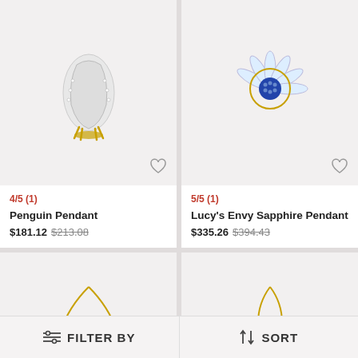[Figure (photo): Penguin-shaped silver and gold pendant on light gray background]
4/5 (1)
Penguin Pendant
$181.12  $213.08
[Figure (photo): Lucy's Envy Sapphire flower pendant with blue sapphire center and diamond petals on light gray background]
5/5 (1)
Lucy's Envy Sapphire Pendant
$335.26  $394.43
[Figure (photo): Gold crown-shaped diamond pendant on chain, light gray background]
[Figure (photo): Gold and pearl drop pendant on chain with diamond accents, light gray background]
FILTER BY
SORT